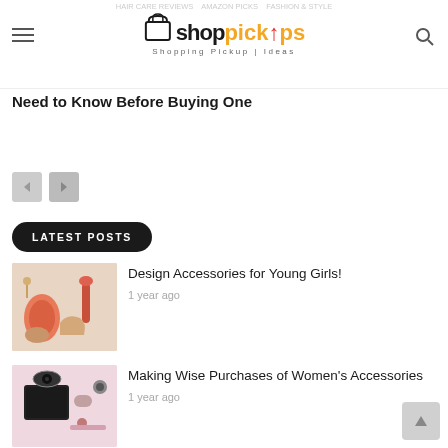ShopPickUps - Shopping Pickup Ideas
Need to Know Before Buying One
[Figure (screenshot): Pagination navigation buttons (prev/next arrows)]
LATEST POSTS
[Figure (photo): Fashion accessories photo with coral jacket, nail polish, heels, and handbag]
Design Accessories for Young Girls!
1 year ago
[Figure (photo): Women's accessories flatlay with tablet, sunglasses, makeup on pink background]
Making Wise Purchases of Women's Accessories
1 year ago